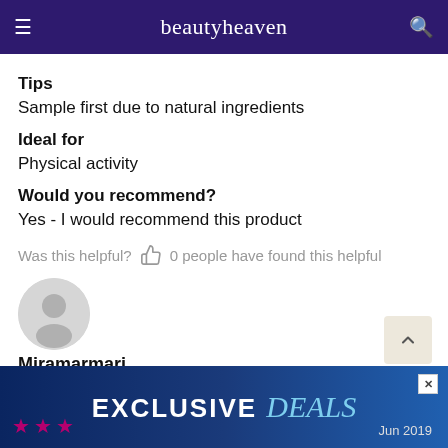beautyheaven
Tips
Sample first due to natural ingredients
Ideal for
Physical activity
Would you recommend?
Yes - I would recommend this product
Was this helpful?  0 people have found this helpful
[Figure (photo): Default user avatar circle icon]
Miramarmari
[Figure (infographic): Exclusive deals advertisement banner with stars rating and Jun 2019 date]